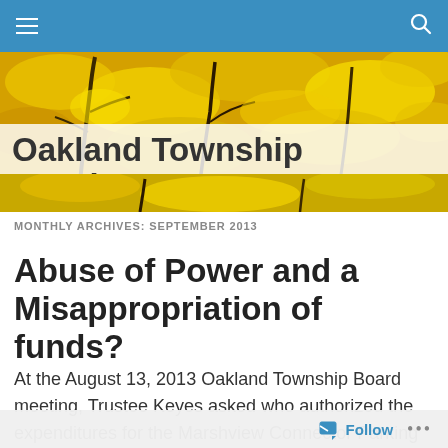Oakland Township Watchers — Eyes on our new government
MONTHLY ARCHIVES: SEPTEMBER 2013
Abuse of Power and a Misappropriation of funds?
At the August 13, 2013 Oakland Township Board meeting, Trustee Keyes asked who authorized the expenditures for the Marshview Connector Parking lot work.  She
Follow